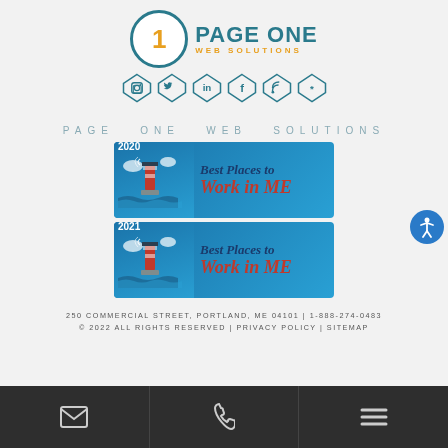[Figure (logo): Page One Web Solutions logo with teal circle containing number 1 and company name]
[Figure (infographic): Row of 6 social media icons (Instagram, Twitter, LinkedIn, Facebook, RSS, Yelp) in diamond/rhombus shapes with teal color]
PAGE ONE WEB SOLUTIONS
[Figure (infographic): 2020 Best Places to Work in ME award badge with lighthouse graphic]
[Figure (infographic): 2021 Best Places to Work in ME award badge with lighthouse graphic]
250 COMMERCIAL STREET, PORTLAND, ME 04101 | 1-888-274-0483
© 2022 ALL RIGHTS RESERVED | PRIVACY POLICY | SITEMAP
[Figure (infographic): Dark bottom navigation bar with email, phone, and menu icons]